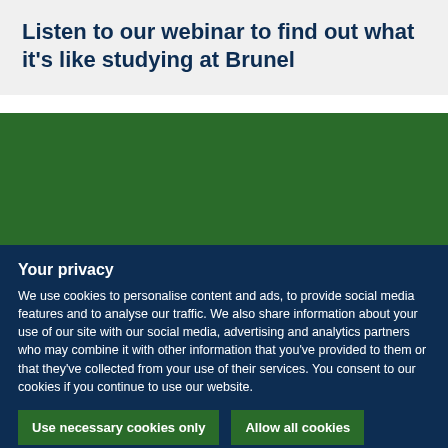Listen to our webinar to find out what it's like studying at Brunel
[Figure (photo): Green rectangular image block representing a webinar or campus photo from Brunel University]
Your privacy
We use cookies to personalise content and ads, to provide social media features and to analyse our traffic. We also share information about your use of our site with our social media, advertising and analytics partners who may combine it with other information that you've provided to them or that they've collected from your use of their services. You consent to our cookies if you continue to use our website.
Use necessary cookies only
Allow all cookies
Show details